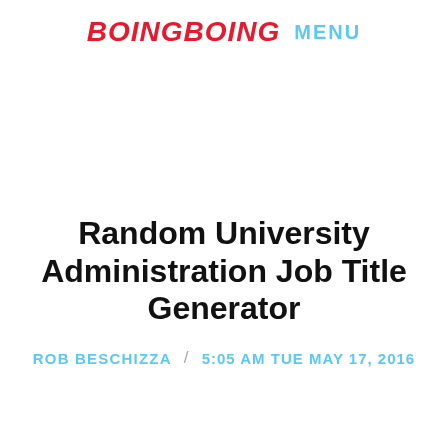boingboing MENU
Random University Administration Job Title Generator
ROB BESCHIZZA / 5:05 AM TUE MAY 17, 2016